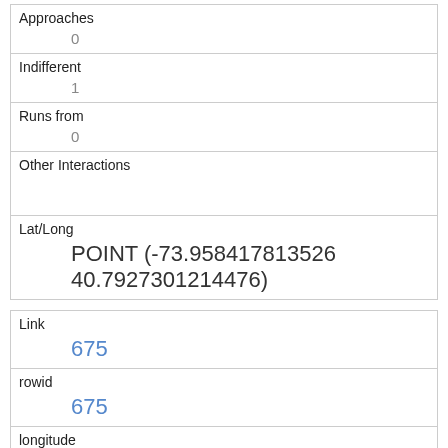| Approaches | 0 |
| Indifferent | 1 |
| Runs from | 0 |
| Other Interactions |  |
| Lat/Long | POINT (-73.958417813526 40.7927301214476) |
| Link | 675 |
| rowid | 675 |
| longitude | -73.9759830650957 |
| latitude | 40.7683034739069 |
| Unique Squirrel ID | 3E AM 1006 01 |